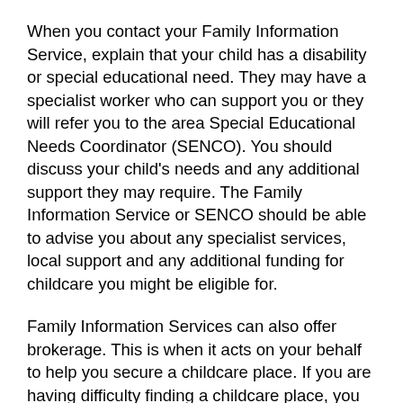When you contact your Family Information Service, explain that your child has a disability or special educational need. They may have a specialist worker who can support you or they will refer you to the area Special Educational Needs Coordinator (SENCO). You should discuss your child's needs and any additional support they may require. The Family Information Service or SENCO should be able to advise you about any specialist services, local support and any additional funding for childcare you might be eligible for.
Family Information Services can also offer brokerage. This is when it acts on your behalf to help you secure a childcare place. If you are having difficulty finding a childcare place, you should ask about how the brokerage service might be able to help you. The Family Information Service may offer to ring round